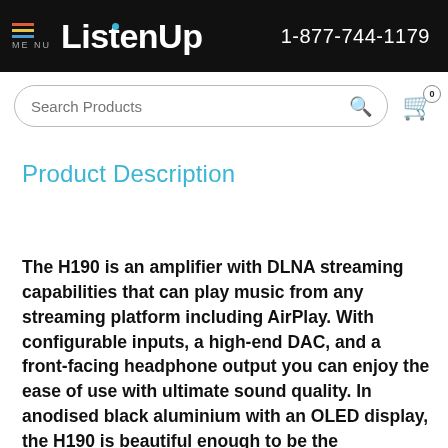ListenUp 1-877-744-1179
Product Description
The H190 is an amplifier with DLNA streaming capabilities that can play music from any streaming platform including AirPlay. With configurable inputs, a high-end DAC, and a front-facing headphone output you can enjoy the ease of use with ultimate sound quality. In anodised black aluminium with an OLED display, the H190 is beautiful enough to be the centerpiece in